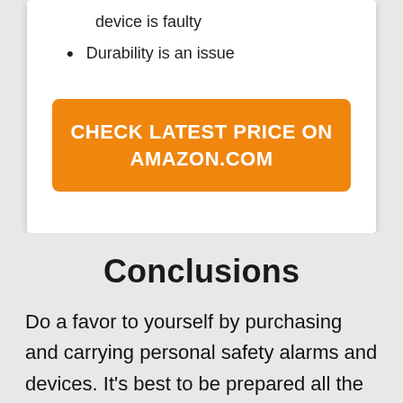device is faulty
Durability is an issue
CHECK LATEST PRICE ON AMAZON.COM
Conclusions
Do a favor to yourself by purchasing and carrying personal safety alarms and devices. It's best to be prepared all the time. With it, you'd be able to protect yourself. There should